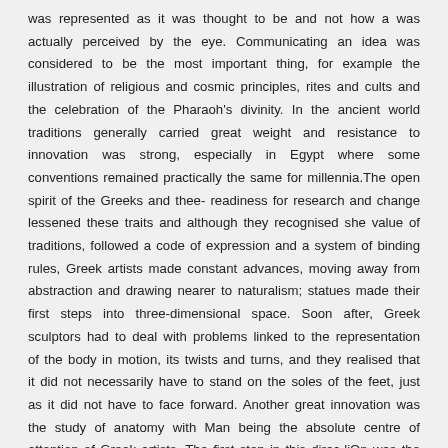was represented as it was thought to be and not how a was actually perceived by the eye. Communicating an idea was considered to be the most important thing, for example the illustration of religious and cosmic principles, rites and cults and the celebration of the Pharaoh's divinity. In the ancient world traditions generally carried great weight and resistance to innovation was strong, especially in Egypt where some conventions remained practically the same for millennia.The open spirit of the Greeks and thee- readiness for research and change lessened these traits and although they recognised she value of traditions, followed a code of expression and a system of binding rules, Greek artists made constant advances, moving away from abstraction and drawing nearer to naturalism; statues made their first steps into three-dimensional space. Soon after, Greek sculptors had to deal with problems linked to the representation of the body in motion, its twists and turns, and they realised that it did not necessarily have to stand on the soles of the feet, just as it did not have to face forward. Another great innovation was the study of anatomy with Man being the absolute centre of attention of Greek artists. The first step in this direc-liOn was the need to make statues lifesize instead of the colossi of Egyp-ˡ descent, and this led to more attention being given to anatomical detail sbrough the careful observation